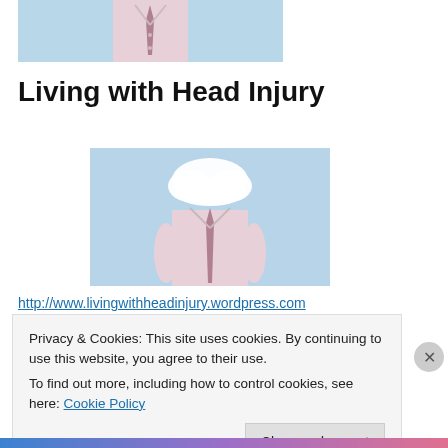[Figure (photo): Cropped photo of a man in a pink shirt and tie against a light blue background, head cropped out at top]
Living with Head Injury
[Figure (photo): Photo of a man in a pink shirt and tie with a white cloud where his head should be, against a light blue sky background]
http://www.livingwithheadinjury.wordpress.com
Privacy & Cookies: This site uses cookies. By continuing to use this website, you agree to their use.
To find out more, including how to control cookies, see here: Cookie Policy
Close and accept